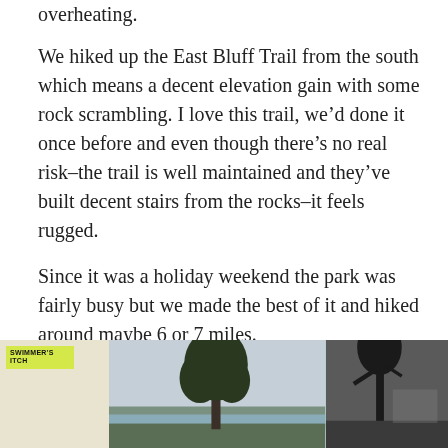overheating.
We hiked up the East Bluff Trail from the south which means a decent elevation gain with some rock scrambling. I love this trail, we’d done it once before and even though there’s no real risk–the trail is well maintained and they’ve built decent stairs from the rocks–it feels rugged.
Since it was a holiday weekend the park was fairly busy but we made the best of it and hiked around maybe 6 or 7 miles.
[Figure (photo): Three photos side by side at the bottom of the page: left photo shows a yellow sign reading SWIMMER'S ITCH, middle photo shows a landscape view with trees and overcast sky, right photo shows a dark silhouette scene.]